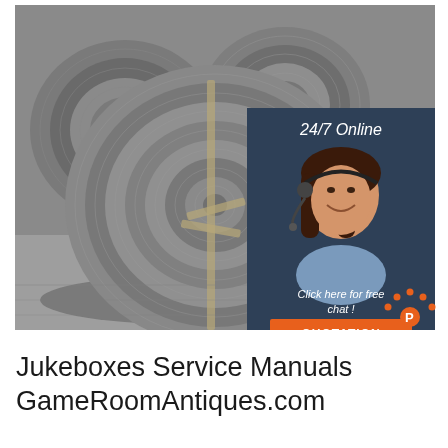[Figure (photo): Large coils of steel wire/rod stacked in a warehouse. In the upper right, a dark navy overlay panel shows a customer service agent (woman with headset smiling), text '24/7 Online', 'Click here for free chat!', and an orange 'QUOTATION' button.]
Jukeboxes Service Manuals GameRoomAntiques.com